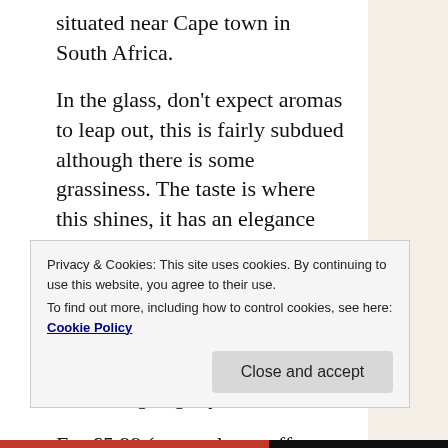situated near Cape town in South Africa.
In the glass, don't expect aromas to leap out, this is fairly subdued although there is some grassiness. The taste is where this shines, it has an elegance about it, dry and crisp with grapefruit and limes but with  maybe a touch of mango but it's that tropical edge that makes it shine and stand out as something slightly different.
For £5.99 (currently on offer from £8.99) this is a steal and I have since been back for more. If you
Privacy & Cookies: This site uses cookies. By continuing to use this website, you agree to their use.
To find out more, including how to control cookies, see here: Cookie Policy
Close and accept